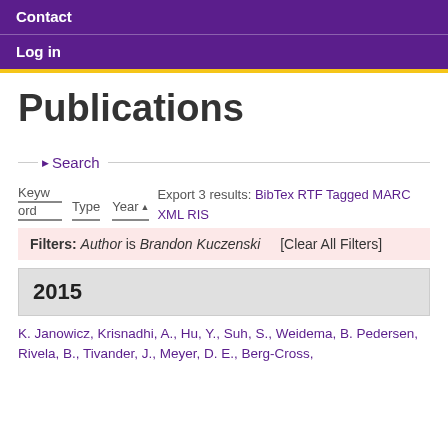Contact
Log in
Publications
Search
Export 3 results: BibTex RTF Tagged MARC XML RIS
Keyword  Type  Year
Filters: Author is Brandon Kuczenski  [Clear All Filters]
2015
K. Janowicz, Krisnadhi, A., Hu, Y., Suh, S., Weidema, B. Pedersen, Rivela, B., Tivander, J., Meyer, D. E., Berg-Cross,